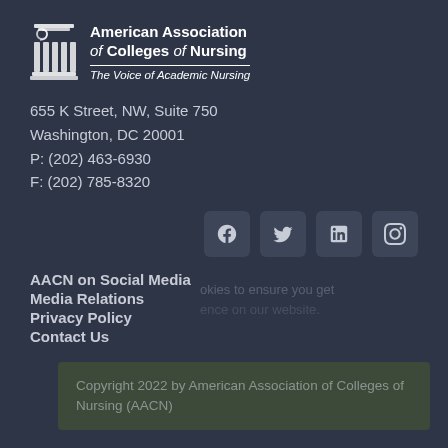[Figure (logo): AACN logo with column icon, text: American Association of Colleges of Nursing, The Voice of Academic Nursing]
655 K Street, NW, Suite 750
Washington, DC 20001
P: (202) 463-6930
F: (202) 785-8320
[Figure (other): Social media icons: Facebook, Twitter, LinkedIn, Instagram]
AACN on Social Media
Media Relations
Privacy Policy
Contact Us
Copyright 2022 by American Association of Colleges of Nursing (AACN)